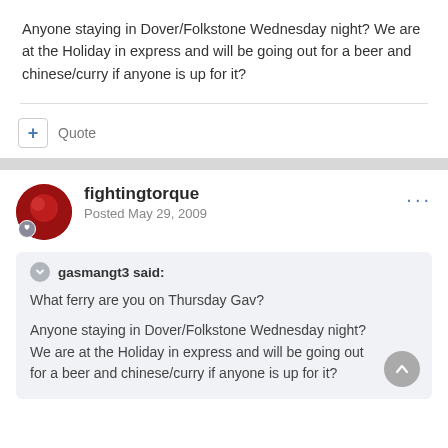Anyone staying in Dover/Folkstone Wednesday night? We are at the Holiday in express and will be going out for a beer and chinese/curry if anyone is up for it?
Quote
fightingtorque
Posted May 29, 2009
gasmangt3 said:
What ferry are you on Thursday Gav?
Anyone staying in Dover/Folkstone Wednesday night? We are at the Holiday in express and will be going out for a beer and chinese/curry if anyone is up for it?